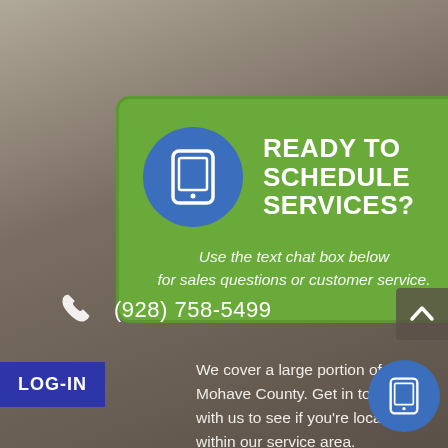[Figure (infographic): Green card with blue circle phone icon and heading 'READY TO SCHEDULE SERVICES?' with italic subtitle text]
READY TO SCHEDULE SERVICES?
Use the text chat box below for sales questions or customer service.
(928) 758-5499
LOG-IN
We cover a large portion of Mohave County. Get in touch with us to see if you're located within our service area.